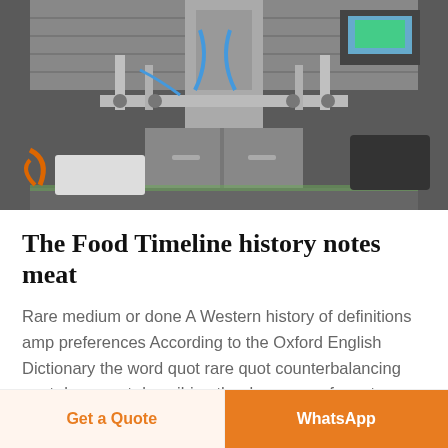[Figure (photo): Industrial filling machine with stainless steel frame, blue pneumatic tubes, control panel with screen, and an assembly line conveyor system in a factory setting.]
The Food Timeline history notes meat
Rare medium or done A Western history of definitions amp preferences According to the Oxford English Dictionary the word quot rare quot counterbalancing quot done quot describing the doneness of meat descends from the word quot
Get a Quote  WhatsApp